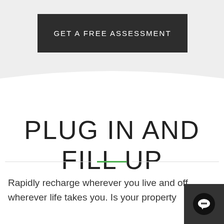GET A FREE ASSESSMENT
PLUG IN AND FILL UP
Rapidly recharge wherever you live and off wherever life takes you. Is your property